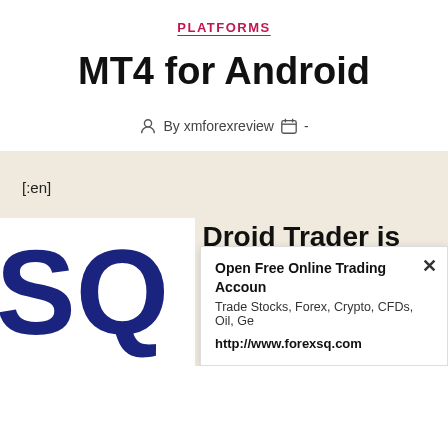PLATFORMS
MT4 for Android
By xmforexreview  -
[:en]
Why XM MT4 Droid Trader is
[Figure (screenshot): Large blue SQ letters logo partially visible in bottom-left corner, with an ad overlay popup showing Open Free Online Trading Account, Trade Stocks, Forex, Crypto, CFDs, Oil, Ge..., http://www.forexsq.com, and a close X button]